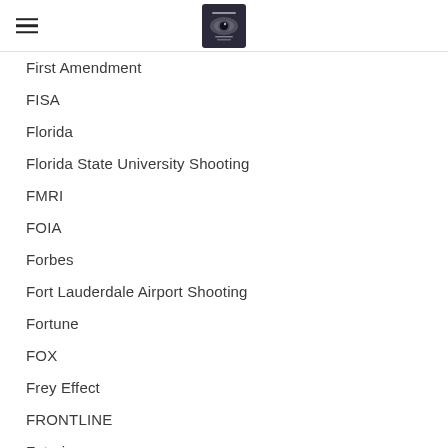[logo: eye image]
First Amendment
FISA
Florida
Florida State University Shooting
FMRI
FOIA
Forbes
Fort Lauderdale Airport Shooting
Fortune
FOX
Frey Effect
FRONTLINE
Futurism
Gaia
Gangstalking
Ganzfeld Experiment
Gaslighting